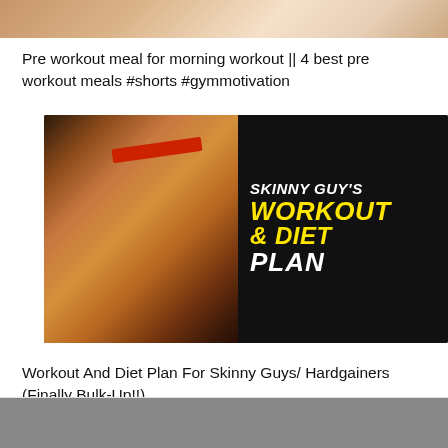[Figure (photo): Partial view of a food/meal image at the top of the page, cropped]
Pre workout meal for morning workout || 4 best pre workout meals #shorts #gymmotivation
[Figure (photo): Thumbnail image showing a muscular man with a red headband flexing his back muscles on a dark background, with text overlay reading SKINNY GUY'S WORKOUT & DIET PLAN in white and yellow bold italic fonts]
Workout And Diet Plan For Skinny Guys/ Hardgainers (Finally Bulk-Up!!)